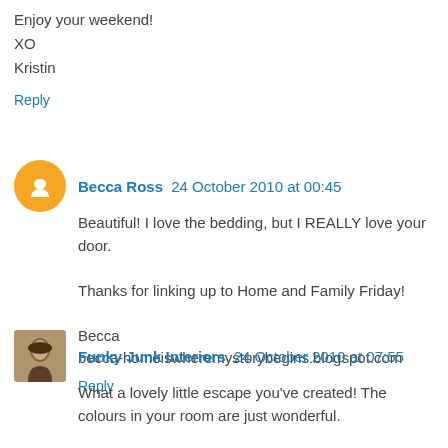Enjoy your weekend!
XO
Kristin
Reply
Becca Ross 24 October 2010 at 00:45
Beautiful! I love the bedding, but I REALLY love your door.

Thanks for linking up to Home and Family Friday!

Becca
becca-homeiswheremystorybegins.blogspot.com
Reply
Funky Junk Interiors 24 October 2010 at 07:55
What a lovely little escape you've created! The colours in your room are just wonderful.

And I agree with a high end bed, I bought the best I could...